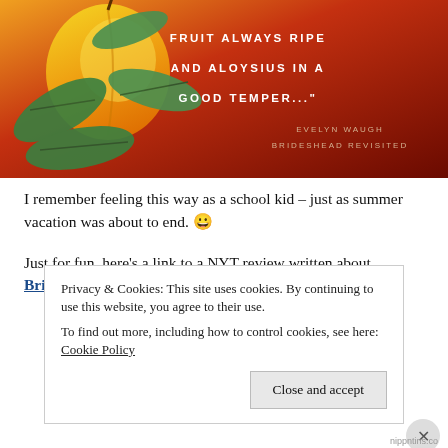[Figure (illustration): Book cover or promotional image with orange/red gradient background, botanical illustration of a yellow/orange fruit with green leaves on the left, and white uppercase text on the right reading: 'FRUIT ALWAYS RIPE AND ALOYSIUS IN A GOOD TEMPER...' with attribution 'EVELYN WAUGH BRIDESHEAD REVISITED' in smaller spaced caps below.]
I remember feeling this way as a school kid – just as summer vacation was about to end. 😀
Just for fun, here's a link to a NYT review written about Brideshead Revisited, in 1945
Privacy & Cookies: This site uses cookies. By continuing to use this website, you agree to their use.
To find out more, including how to control cookies, see here: Cookie Policy
Close and accept